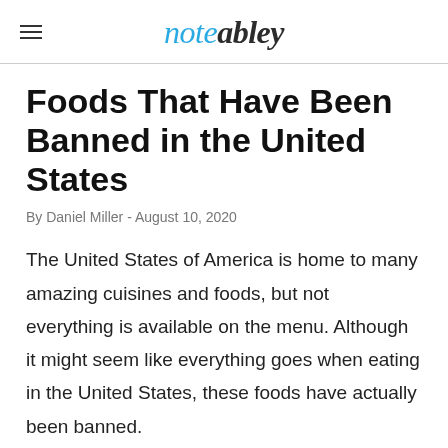noteabley
Foods That Have Been Banned in the United States
By Daniel Miller - August 10, 2020
The United States of America is home to many amazing cuisines and foods, but not everything is available on the menu. Although it might seem like everything goes when eating in the United States, these foods have actually been banned.